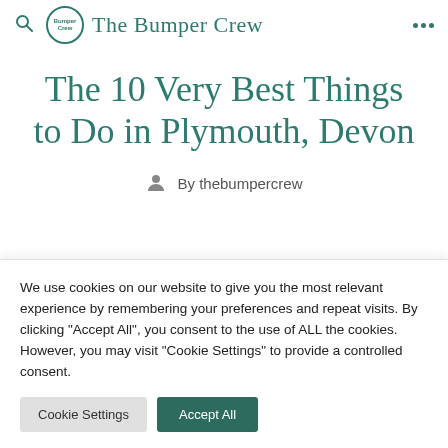The Bumper Crew
The 10 Very Best Things to Do in Plymouth, Devon
By thebumpercrew
We use cookies on our website to give you the most relevant experience by remembering your preferences and repeat visits. By clicking “Accept All”, you consent to the use of ALL the cookies. However, you may visit "Cookie Settings" to provide a controlled consent.